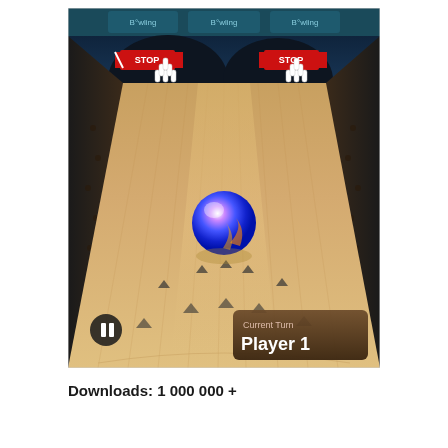[Figure (screenshot): Screenshot of a 3D bowling game app showing a bowling alley lane viewed from behind the bowler's perspective. A shiny blue/purple bowling ball is mid-lane. Ten pins are visible at the far end. Two lanes are visible side by side with 'STOP' signs above each. A pause button is in the lower left. A 'Current Turn Player 1' UI panel is in the lower right. The lane has wooden texture with approach markers visible.]
Downloads: 1 000 000 +